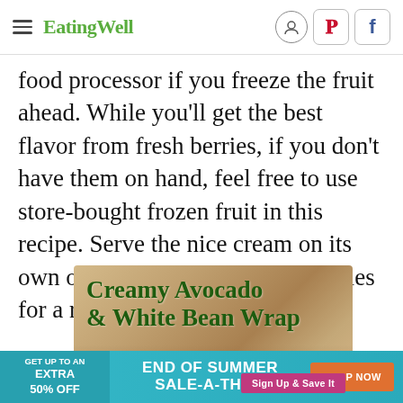EatingWell
food processor if you freeze the fruit ahead. While you'll get the best flavor from fresh berries, if you don't have them on hand, feel free to use store-bought frozen fruit in this recipe. Serve the nice cream on its own or top it with more fresh berries for a refreshing summer treat.
[Figure (other): Advertisement for Creamy Avocado & White Bean Wrap recipe with food photo and Sign Up & Save It button]
[Figure (other): Bottom advertisement banner: GET UP TO AN EXTRA 50% OFF - END OF SUMMER SALE-A-THON - SHOP NOW button on teal background]